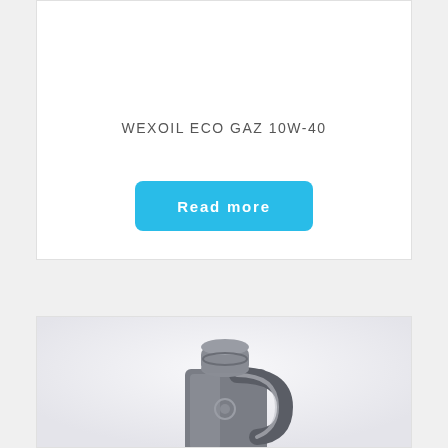WEXOIL ECO GAZ 10W-40
Read more
[Figure (photo): Partial view of a motor oil plastic container/jug with a grey cap and handle, against a light background]